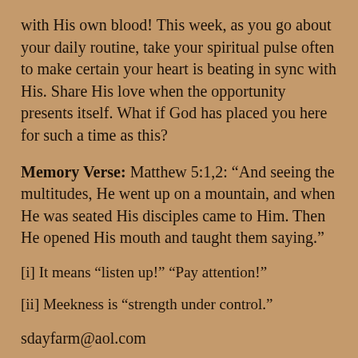with His own blood! This week, as you go about your daily routine, take your spiritual pulse often to make certain your heart is beating in sync with His. Share His love when the opportunity presents itself. What if God has placed you here for such a time as this?
Memory Verse: Matthew 5:1,2: “And seeing the multitudes, He went up on a mountain, and when He was seated His disciples came to Him. Then He opened His mouth and taught them saying.”
[i] It means “listen up!” “Pay attention!”
[ii] Meekness is “strength under control.”
sdayfarm@aol.com